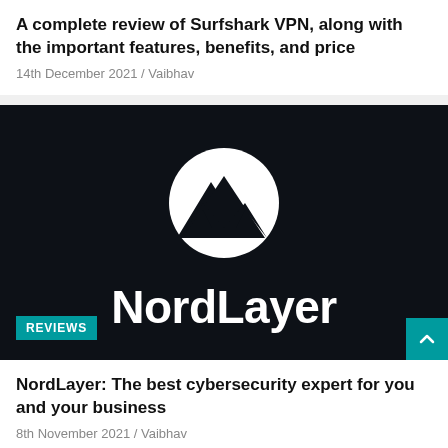A complete review of Surfshark VPN, along with the important features, benefits, and price
14th December 2021 / Vaibhav
[Figure (logo): NordLayer logo on dark navy background: white circle with mountain silhouette, wordmark 'NordLayer' in white, REVIEWS badge in teal bottom-left, teal scroll-up button bottom-right]
NordLayer: The best cybersecurity expert for you and your business
8th November 2021 / Vaibhav